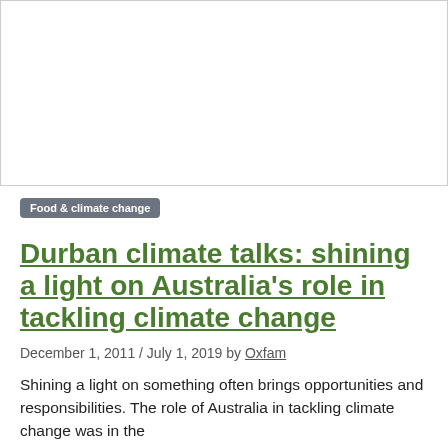[Figure (photo): Large image placeholder area at the top of the article page, white/blank space with a thin border]
Food & climate change
Durban climate talks: shining a light on Australia’s role in tackling climate change
December 1, 2011 / July 1, 2019 by Oxfam
Shining a light on something often brings opportunities and responsibilities. The role of Australia in tackling climate change was in the